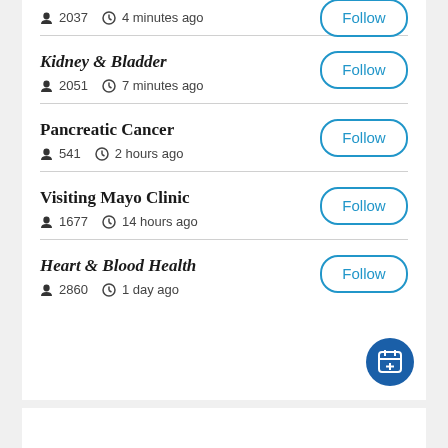2037  4 minutes ago
Kidney & Bladder
2051  7 minutes ago
Pancreatic Cancer
541  2 hours ago
Visiting Mayo Clinic
1677  14 hours ago
Heart & Blood Health
2860  1 day ago